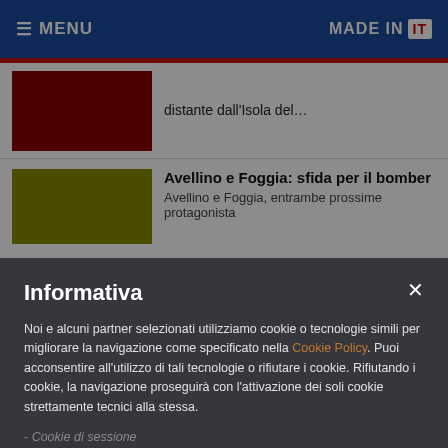≡ MENU   MADE IN IT
distante dall'Isola del…
Avellino e Foggia: sfida per il bomber
Avellino e Foggia, entrambe prossime protagonista
Informativa
Noi e alcuni partner selezionati utilizziamo cookie o tecnologie simili per migliorare la navigazione come specificato nella Cookie Policy. Puoi acconsentire all'utilizzo di tali tecnologie o rifiutare i cookie. Rifiutando i cookie, la navigazione proseguirà con l'attivazione dei soli cookie strettamente tecnici alla stessa.
- Cookie di sessione
- Cookie di Google Analytics
- Google Tag Manager
- Facebook Comments
- Cloudflare
ACCETTO